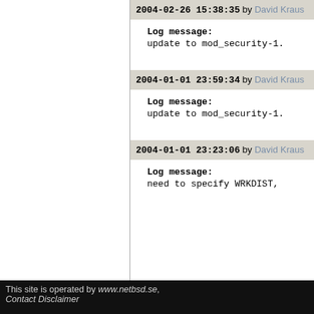2004-02-26 15:38:35 by David Kraus
Log message:
update to mod_security-1.
2004-01-01 23:59:34 by David Kraus
Log message:
update to mod_security-1.
2004-01-01 23:23:06 by David Kraus
Log message:
need to specify WRKDIST,
This site is operated by www.netbsd.se, Contact Disclaimer